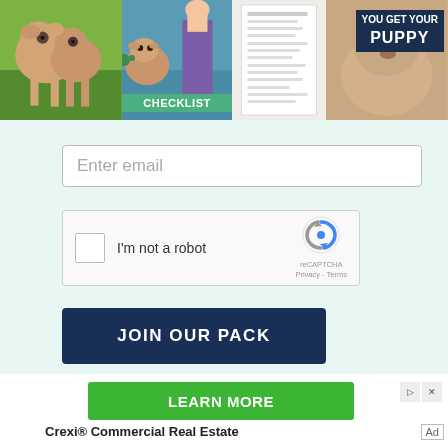[Figure (photo): Strip of images showing dogs on grass, a puppy with a person, a checklist document, and a dog with 'YOU GET YOUR PUPPY' badge overlay]
Enter email
[Figure (other): reCAPTCHA widget with checkbox and 'I'm not a robot' text, reCAPTCHA logo, Privacy and Terms links]
JOIN OUR PACK
LEARN MORE
Crexi® Commercial Real Estate
Ad